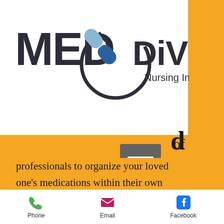[Figure (logo): Med Divide Nursing Inc logo with pill capsule icon and circular arrow]
[Figure (other): Hamburger menu button (three horizontal lines) in grey square]
of professionals to organize your loved one's medications within their own home. Med Divide's nurses take the time to ask questions, get to know clients and their baseline state of health, including any
Phone   Email   Facebook